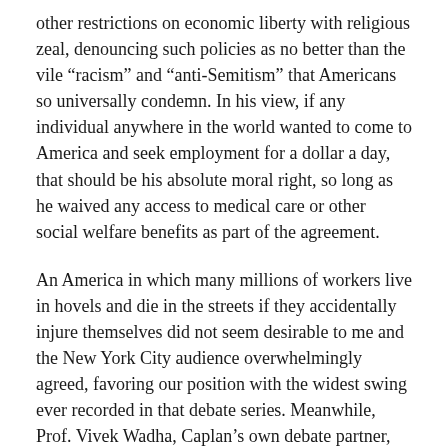other restrictions on economic liberty with religious zeal, denouncing such policies as no better than the vile “racism” and “anti-Semitism” that Americans so universally condemn. In his view, if any individual anywhere in the world wanted to come to America and seek employment for a dollar a day, that should be his absolute moral right, so long as he waived any access to medical care or other social welfare benefits as part of the agreement.
An America in which many millions of workers live in hovels and die in the streets if they accidentally injure themselves did not seem desirable to me and the New York City audience overwhelmingly agreed, favoring our position with the widest swing ever recorded in that debate series. Meanwhile, Prof. Vivek Wadha, Caplan’s own debate partner, repeatedly endorsed the idea of raising the minimum wage to $12 per hour, a position that Caplan considered a horrifying betrayal of all free market principles.